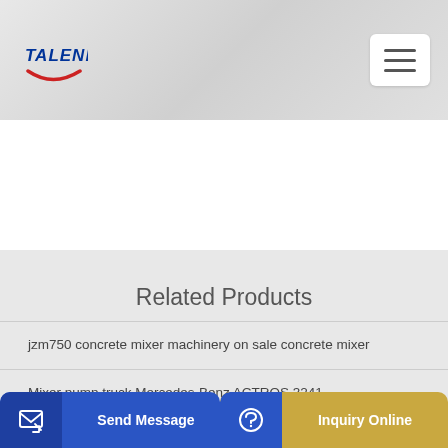TALENET
Related Products
jzm750 concrete mixer machinery on sale concrete mixer
Mixer pump truck Mercedes-Benz ACTROS 3241
aden I...
Send Message
Inquiry Online